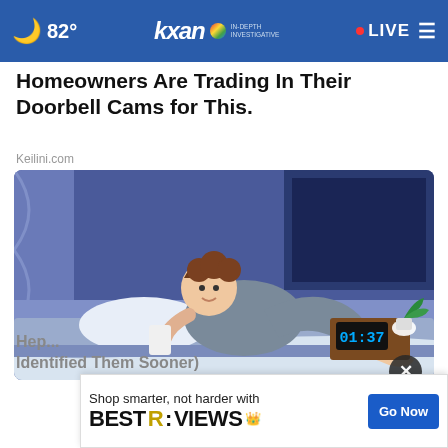🌙 82° | KXAN IN-DEPTH INVESTIGATIVE | • LIVE ☰
Homeowners Are Trading In Their Doorbell Cams for This.
Keilini.com
[Figure (illustration): Cartoon illustration of a man lying on a bed at night, holding a phone, with a clock showing 01:37 on a nightstand and a plant nearby.]
Hep... Identified Them Sooner)
[Figure (other): BestReviews advertisement banner: Shop smarter, not harder with BEST REVIEWS. Go Now button.]